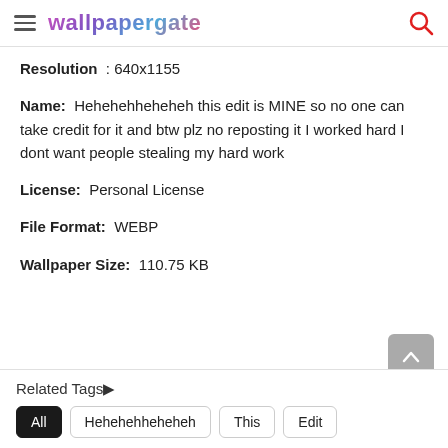wallpapergate
Resolution : 640x1155
Name: Hehehehheheheh this edit is MINE so no one can take credit for it and btw plz no reposting it I worked hard I dont want people stealing my hard work
License: Personal License
File Format: WEBP
Wallpaper Size: 110.75 KB
Related Tags
All
Hehehehheheheh
This
Edit